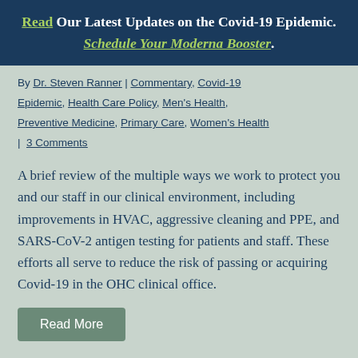Read Our Latest Updates on the Covid-19 Epidemic. Schedule Your Moderna Booster.
By Dr. Steven Ranner | Commentary, Covid-19 Epidemic, Health Care Policy, Men's Health, Preventive Medicine, Primary Care, Women's Health | 3 Comments
A brief review of the multiple ways we work to protect you and our staff in our clinical environment, including improvements in HVAC, aggressive cleaning and PPE, and SARS-CoV-2 antigen testing for patients and staff. These efforts all serve to reduce the risk of passing or acquiring Covid-19 in the OHC clinical office.
Read More